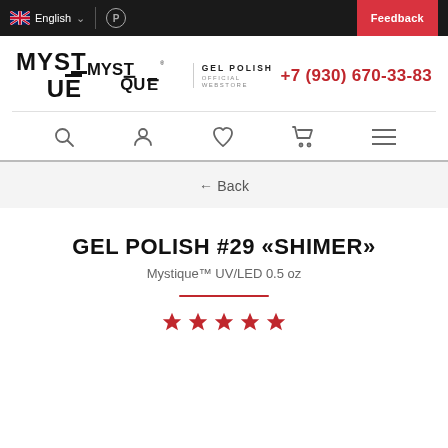English  Feedback
[Figure (logo): Mystique Gel Polish official webstore logo with text GEL POLISH / OFFICIAL / WEBSTORE]
+7 (930) 670-33-83
[Figure (other): Navigation icons: search, account, wishlist/heart, cart, menu]
← Back
GEL POLISH #29 «SHIMER»
Mystique™ UV/LED 0.5 oz